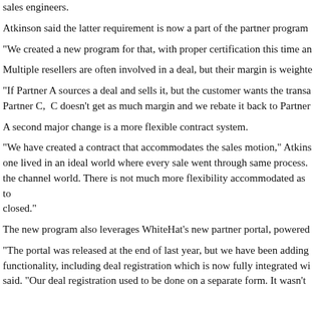sales engineers.
Atkinson said the latter requirement is now a part of the partner program
"We created a new program for that, with proper certification this time an
Multiple resellers are often involved in a deal, but their margin is weighte
"If Partner A sources a deal and sells it, but the customer wants the transa Partner C,  C doesn't get as much margin and we rebate it back to Partner
A second major change is a more flexible contract system.
"We have created a contract that accommodates the sales motion," Atkins one lived in an ideal world where every sale went through same process. the channel world. There is not much more flexibility accommodated as to closed."
The new program also leverages WhiteHat's new partner portal, powered
"The portal was released at the end of last year, but we have been adding functionality, including deal registration which is now fully integrated wi said. "Our deal registration used to be done on a separate form. It wasn't